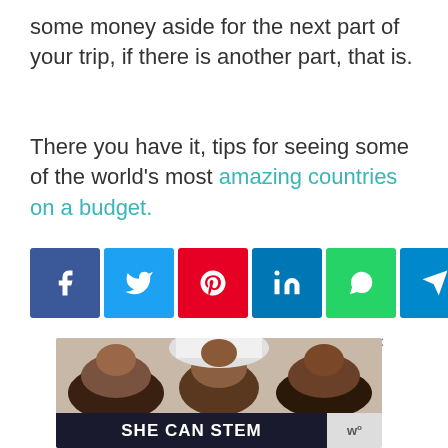some money aside for the next part of your trip, if there is another part, that is.
There you have it, tips for seeing some of the world's most amazing countries on a budget.
[Figure (other): Row of social media share buttons: Facebook, Twitter, Pinterest, LinkedIn, WhatsApp, Telegram, Email]
[Figure (photo): Advertisement image showing a family (mother and children) lying down and smiling, with 'SHE CAN STEM' text banner at bottom and a logo. There is an X close button in the top right.]